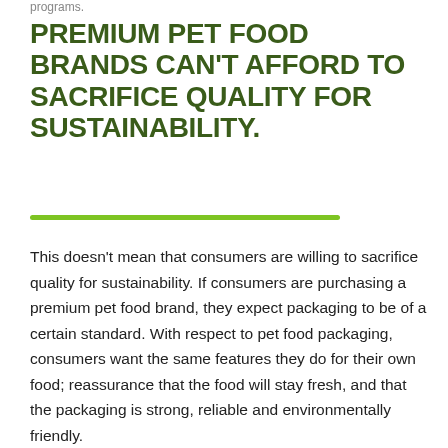programs.
PREMIUM PET FOOD BRANDS CAN'T AFFORD TO SACRIFICE QUALITY FOR SUSTAINABILITY.
This doesn't mean that consumers are willing to sacrifice quality for sustainability. If consumers are purchasing a premium pet food brand, they expect packaging to be of a certain standard. With respect to pet food packaging, consumers want the same features they do for their own food; reassurance that the food will stay fresh, and that the packaging is strong, reliable and environmentally friendly.